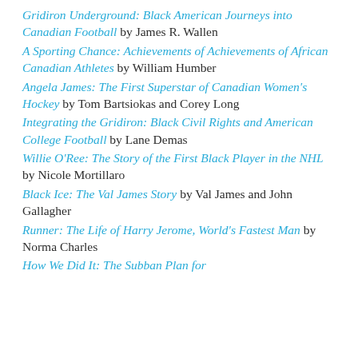Gridiron Underground: Black American Journeys into Canadian Football by James R. Wallen
A Sporting Chance: Achievements of Achievements of African Canadian Athletes by William Humber
Angela James: The First Superstar of Canadian Women's Hockey by Tom Bartsiokas and Corey Long
Integrating the Gridiron: Black Civil Rights and American College Football by Lane Demas
Willie O'Ree: The Story of the First Black Player in the NHL by Nicole Mortillaro
Black Ice: The Val James Story by Val James and John Gallagher
Runner: The Life of Harry Jerome, World's Fastest Man by Norma Charles
How We Did It: The Subban Plan for ...